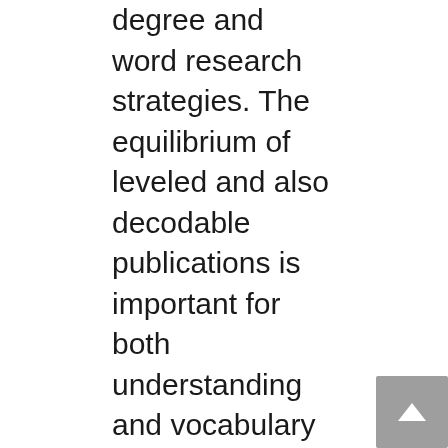degree and word research strategies. The equilibrium of leveled and also decodable publications is important for both understanding and vocabulary structure. They can be utilized for word hunts as well as to stress targeted phonics patterns.
In addition to being a terrific reading program for parents as well as educators, leveled publications are additionally a fantastic way to involve a child in reading aloud. The “We Both Review” series includes a big collection of leveled books. There are six million copies of these leveled publications in print, and the collection has won a number of honors. The writers of these publications include Dev Ross, Sindy McKay, and also Jennifer